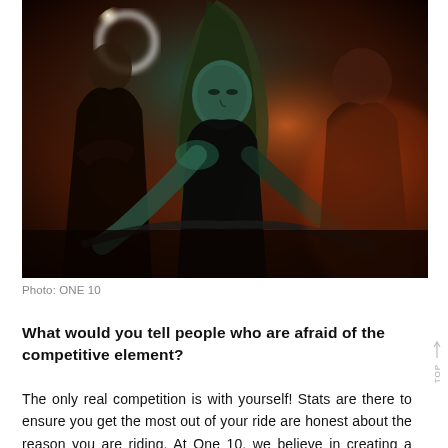[Figure (photo): Indoor cycling class photo showing three people on spin bikes in a dark, dramatically lit studio with orange/warm ambient lighting and teal accent lighting. A woman with long hair is in the center foreground leaning over her handlebars, a bald man is to the left, and another person is in the background right.]
Photo: ONE 10
What would you tell people who are afraid of the competitive element?
The only real competition is with yourself! Stats are there to ensure you get the most out of your ride are honest about the reason you are riding. At One 10, we believe in creating a journey whereby you